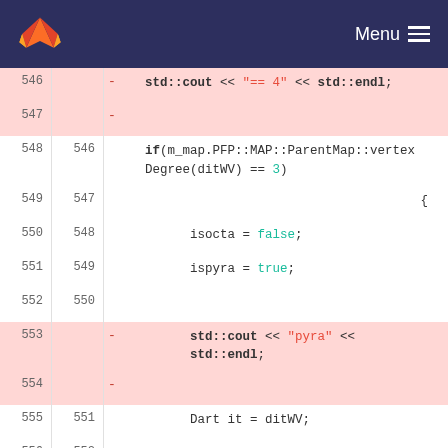GitLab Menu
[Figure (screenshot): Code diff view showing C++ source lines 546-556 with deleted lines (pink background) and unchanged lines. Lines 546-547 show deleted std::cout << "== 4" << std::endl, lines 548-552 show if(m_map.PFP::MAP::ParentMap::vertexDegree(ditWV) == 3) with isocta=false and ispyra=true, lines 553-554 show deleted std::cout << "pyra" << std::endl, lines 555-556 show Dart it = ditWV and if((m_map.faceDegree(it) ==]